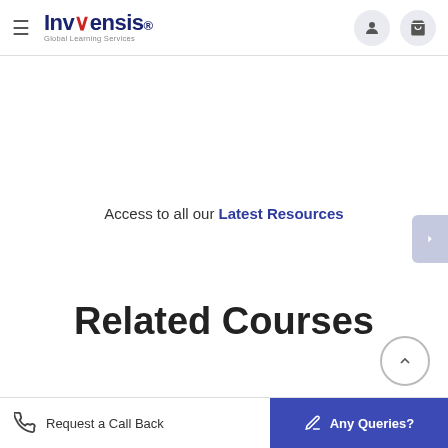Invensis Global Learning Services
Access to all our Latest Resources
Related Courses
Request a Call Back  |  Any Queries?